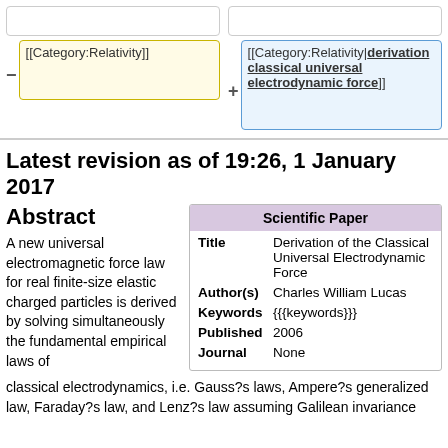[[Category:Relativity]]
[[Category:Relativity|derivation classical universal electrodynamic force]]
Latest revision as of 19:26, 1 January 2017
Abstract
|  | Scientific Paper |
| --- | --- |
| Title | Derivation of the Classical Universal Electrodynamic Force |
| Author(s) | Charles William Lucas |
| Keywords | {{{keywords}}} |
| Published | 2006 |
| Journal | None |
A new universal electromagnetic force law for real finite-size elastic charged particles is derived by solving simultaneously the fundamental empirical laws of classical electrodynamics, i.e. Gauss?s laws, Ampere?s generalized law, Faraday?s law, and Lenz?s law assuming Galilean invariance